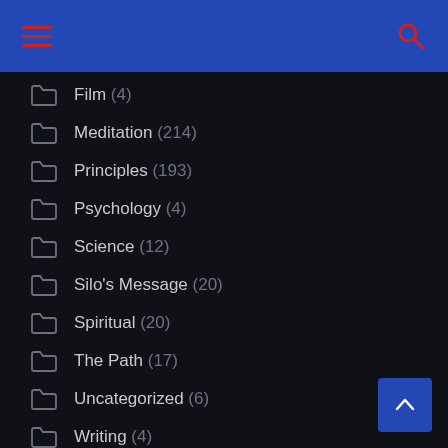Navigation menu header with hamburger and search icons
Film (4)
Meditation (214)
Principles (193)
Psychology (4)
Science (12)
Silo's Message (20)
Spiritual (20)
The Path (17)
Uncategorized (6)
Writing (4)